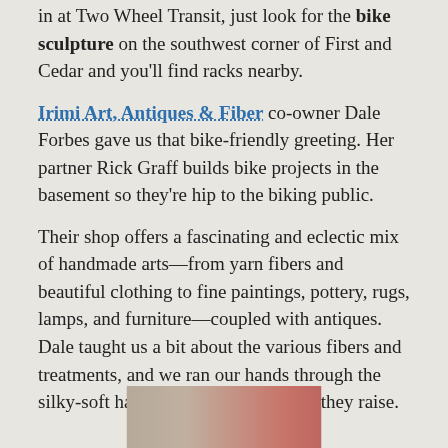in at Two Wheel Transit, just look for the bike sculpture on the southwest corner of First and Cedar and you'll find racks nearby.
Irimi Art, Antiques & Fiber co-owner Dale Forbes gave us that bike-friendly greeting. Her partner Rick Graff builds bike projects in the basement so they're hip to the biking public.
Their shop offers a fascinating and eclectic mix of handmade arts—from yarn fibers and beautiful clothing to fine paintings, pottery, rugs, lamps, and furniture—coupled with antiques. Dale taught us a bit about the various fibers and treatments, and we ran our hands through the silky-soft hair from the pygora goats they raise.
[Figure (photo): Partial photo visible at the bottom of the page, appears to show a person or interior scene with warm colors including red and beige tones.]